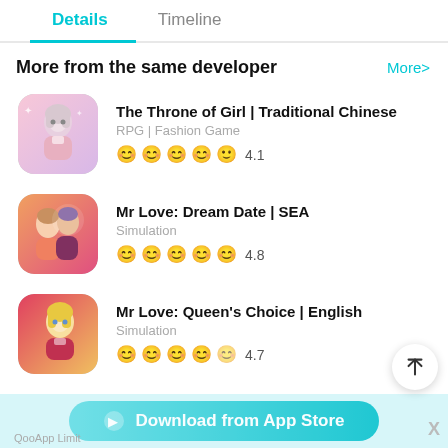Details | Timeline
More from the same developer
More>
The Throne of Girl | Traditional Chinese
RPG | Fashion Game
4.1
Mr Love: Dream Date | SEA
Simulation
4.8
Mr Love: Queen's Choice | English
Simulation
4.7
QooApp Limit... Download from App Store X